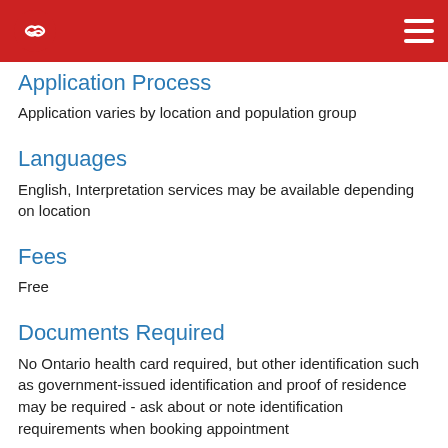Application Process
Application varies by location and population group
Languages
English, Interpretation services may be available depending on location
Fees
Free
Documents Required
No Ontario health card required, but other identification such as government-issued identification and proof of residence may be required - ask about or note identification requirements when booking appointment